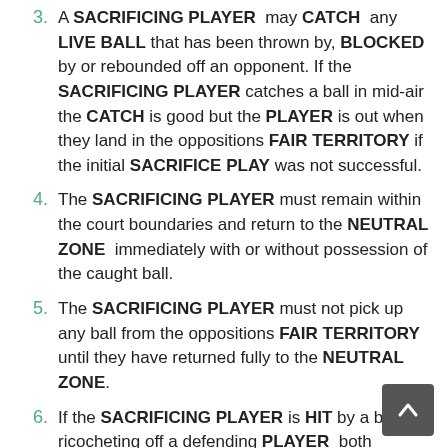3. A SACRIFICING PLAYER may CATCH any LIVE BALL that has been thrown by, BLOCKED by or rebounded off an opponent. If the SACRIFICING PLAYER catches a ball in mid-air the CATCH is good but the PLAYER is out when they land in the oppositions FAIR TERRITORY if the initial SACRIFICE PLAY was not successful.
4. The SACRIFICING PLAYER must remain within the court boundaries and return to the NEUTRAL ZONE immediately with or without possession of the caught ball.
5. The SACRIFICING PLAYER must not pick up any ball from the oppositions FAIR TERRITORY until they have returned fully to the NEUTRAL ZONE.
6. If the SACRIFICING PLAYER is HIT by a ball ricocheting off a defending PLAYER both PLAYERS are out.